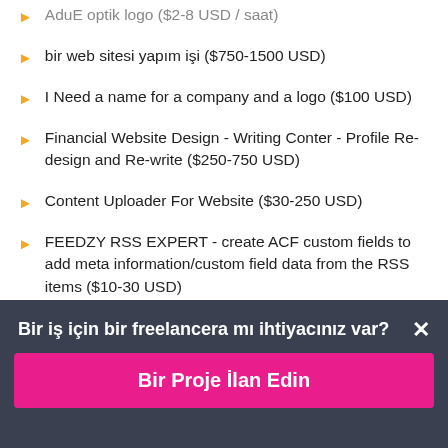AduE optik logo ($2-8 USD / saat)
bir web sitesi yapım işi ($750-1500 USD)
I Need a name for a company and a logo ($100 USD)
Financial Website Design - Writing Conter - Profile Re-design and Re-write ($250-750 USD)
Content Uploader For Website ($30-250 USD)
FEEDZY RSS EXPERT - create ACF custom fields to add meta information/custom field data from the RSS items ($10-30 USD)
Looking for wordpress developer (₹600-1500 INR)
Social Media Website ($1500-3000 AUD)
Bir iş için bir freelancera mı ihtiyacınız var?
Bir Proje İlan Edin